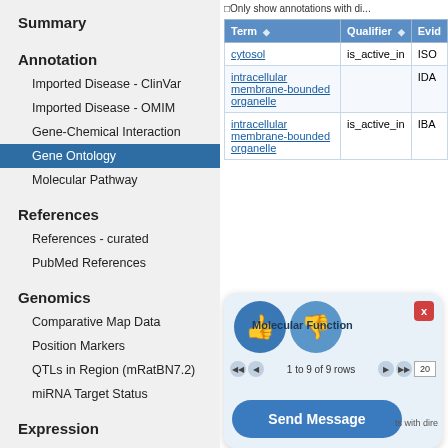Summary
Annotation
Imported Disease - ClinVar
Imported Disease - OMIM
Gene-Chemical Interaction
Gene Ontology
Molecular Pathway
References
References - curated
PubMed References
Genomics
Comparative Map Data
Position Markers
QTLs in Region (mRatBN7.2)
miRNA Target Status
Expression
RNA-SEQ Expression
Only show annotations with di...
| Term | Qualifier | Evid... |
| --- | --- | --- |
| cytosol | is_active_in | ISO |
| intracellular membrane-bounded organelle |  | IDA |
| intracellular membrane-bounded organelle | is_active_in | IBA |
[Figure (screenshot): Chat widget with thumbs up/down icons, pagination showing '1 to 9 of 9 rows', a Send Message button, and a close (x) button. Text overlay reads 'Molecular Function'.]